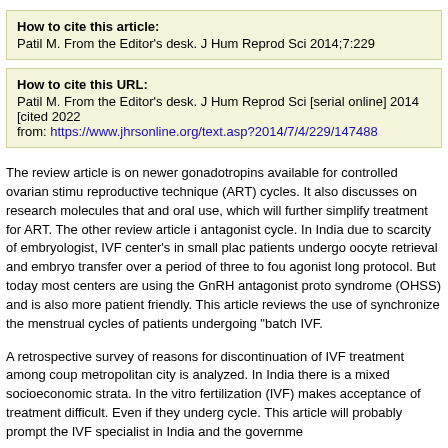How to cite this article:
Patil M. From the Editor's desk. J Hum Reprod Sci 2014;7:229
How to cite this URL:
Patil M. From the Editor's desk. J Hum Reprod Sci [serial online] 2014 [cited 2022 from: https://www.jhrsonline.org/text.asp?2014/7/4/229/147488
The review article is on newer gonadotropins available for controlled ovarian stimu reproductive technique (ART) cycles. It also discusses on research molecules that and oral use, which will further simplify treatment for ART. The other review article i antagonist cycle. In India due to scarcity of embryologist, IVF center's in small plac patients undergo oocyte retrieval and embryo transfer over a period of three to fou agonist long protocol. But today most centers are using the GnRH antagonist proto syndrome (OHSS) and is also more patient friendly. This article reviews the use of synchronize the menstrual cycles of patients undergoing "batch IVF.
A retrospective survey of reasons for discontinuation of IVF treatment among coup metropolitan city is analyzed. In India there is a mixed socioeconomic strata. In the vitro fertilization (IVF) makes acceptance of treatment difficult. Even if they underg cycle. This article will probably prompt the IVF specialist in India and the governme